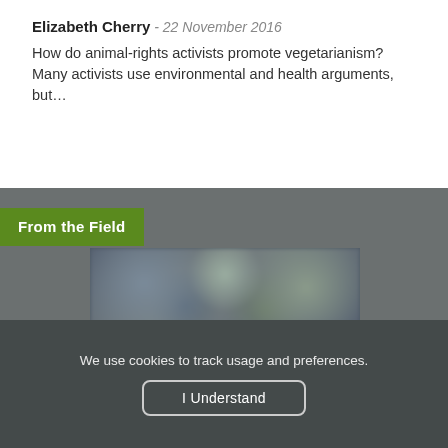Elizabeth Cherry - 22 November 2016
How do animal-rights activists promote vegetarianism? Many activists use environmental and health arguments, but…
[Figure (photo): A blurred photograph of people in what appears to be an indoor venue or event, overlaid on a gray background with a green 'From the Field' banner in the upper left corner.]
We use cookies to track usage and preferences.
I Understand